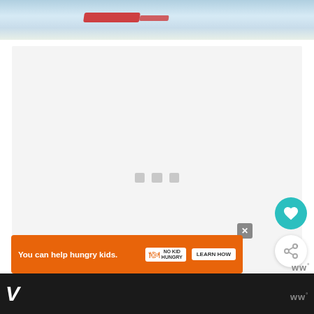[Figure (photo): Hero image at top showing a water surface with blurred motion, reddish element visible]
[Figure (screenshot): Large light gray content loading area with three gray loading indicator squares in the center]
[Figure (other): Teal heart/favorite button (circle)]
[Figure (other): White share button (circle with share icon)]
[Figure (other): What's Next card showing Magical Hawaiian... thumbnail with santa hat on beach]
WHAT'S NEXT → Magical Hawaiian...
[Figure (other): Advertisement banner: You can help hungry kids. NO KID HUNGRY LEARN NOW with close X button]
You can help hungry kids.
LEARN HOW
W°